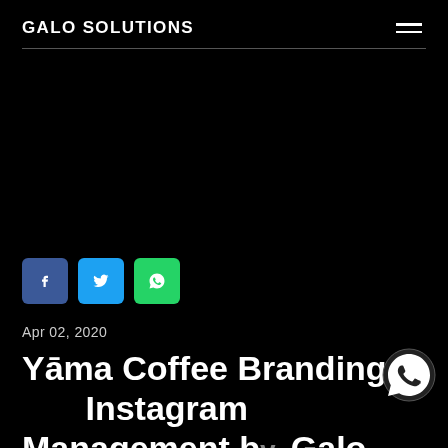GALO SOLUTIONS
[Figure (screenshot): Black background area with navigation divider line]
[Figure (infographic): Social share buttons: Facebook (blue), Twitter (light blue), WhatsApp (green)]
Apr 02, 2020
Yāma Coffee Branding a Instagram Management by, Galo Solutions - Creative